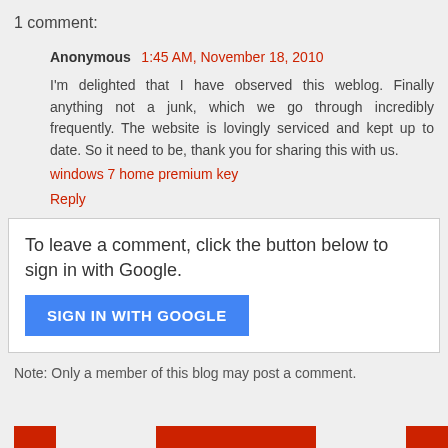1 comment:
Anonymous  1:45 AM, November 18, 2010
I'm delighted that I have observed this weblog. Finally anything not a junk, which we go through incredibly frequently. The website is lovingly serviced and kept up to date. So it need to be, thank you for sharing this with us.
windows 7 home premium key
Reply
To leave a comment, click the button below to sign in with Google.
SIGN IN WITH GOOGLE
Note: Only a member of this blog may post a comment.